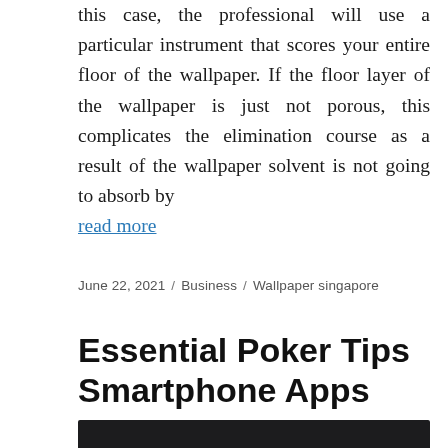this case, the professional will use a particular instrument that scores your entire floor of the wallpaper. If the floor layer of the wallpaper is just not porous, this complicates the elimination course as a result of the wallpaper solvent is not going to absorb by
read more
June 22, 2021 / Business / Wallpaper singapore
Essential Poker Tips Smartphone Apps
[Figure (photo): Bottom portion of a dark-themed image, partially visible at the bottom of the page]